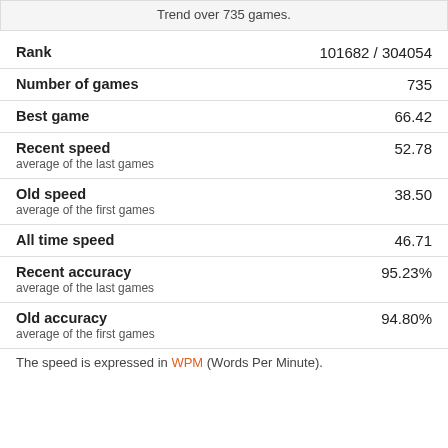Trend over 735 games.
| Metric | Value |
| --- | --- |
| Rank | 101682 / 304054 |
| Number of games | 735 |
| Best game | 66.42 |
| Recent speed
average of the last games | 52.78 |
| Old speed
average of the first games | 38.50 |
| All time speed | 46.71 |
| Recent accuracy
average of the last games | 95.23% |
| Old accuracy
average of the first games | 94.80% |
The speed is expressed in WPM (Words Per Minute).